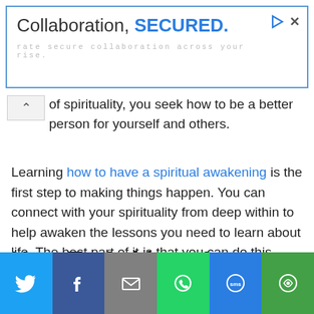[Figure (screenshot): Advertisement banner with text 'Collaboration, SECURED.' and subtitle 'rate secure collaboration across your rise.' with a blue border, play icon and close icon in top right corner.]
of spirituality, you seek how to be a better person for yourself and others.
Learning how to have a spiritual awakening is the first step to making things happen. You can connect with your spirituality from deep within to help awaken the lessons you need to learn about life. The best part of it is that you can do this repeatedly throughout this lifetime in the comfort of your own home.
How To Achieve A
[Figure (infographic): Social share bar at the bottom with Twitter (blue), Facebook (dark blue), Email (gray), WhatsApp (green), SMS (blue), and More (green) buttons with white icons.]